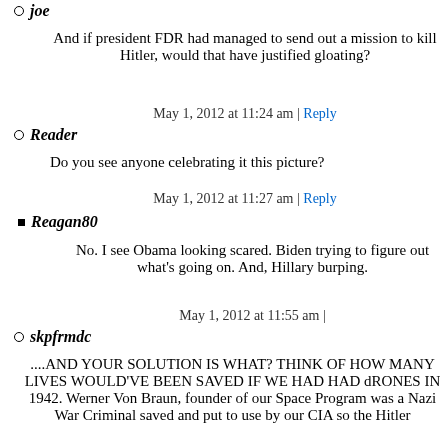joe
And if president FDR had managed to send out a mission to kill Hitler, would that have justified gloating?
May 1, 2012 at 11:24 am | Reply
Reader
Do you see anyone celebrating it this picture?
May 1, 2012 at 11:27 am | Reply
Reagan80
No. I see Obama looking scared. Biden trying to figure out what's going on. And, Hillary burping.
May 1, 2012 at 11:55 am |
skpfrmdc
....AND YOUR SOLUTION IS WHAT? THINK OF HOW MANY LIVES WOULD'VE BEEN SAVED IF WE HAD HAD dRONES IN 1942. Werner Von Braun, founder of our Space Program was a Nazi War Criminal saved and put to use by our CIA so the Hitler